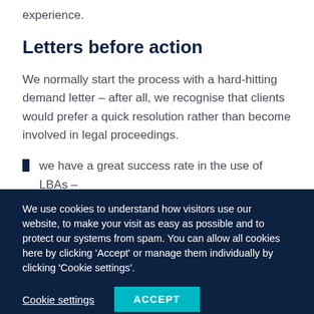experience.
Letters before action
We normally start the process with a hard-hitting demand letter – after all, we recognise that clients would prefer a quick resolution rather than become involved in legal proceedings.
we have a great success rate in the use of LBAs –
We use cookies to understand how visitors use our website, to make your visit as easy as possible and to protect our systems from spam. You can allow all cookies here by clicking 'Accept' or manage them individually by clicking 'Cookie settings'.
Cookie settings   ACCEPT